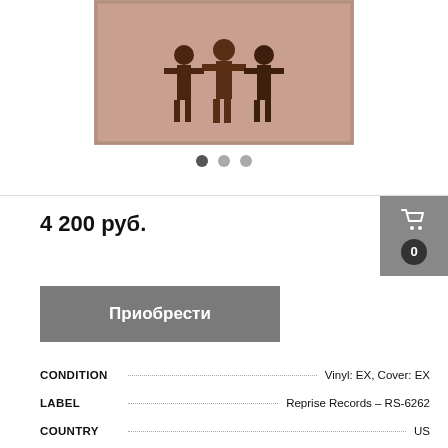[Figure (photo): Album cover photo showing silhouettes of figures on a reddish-brown background, displayed in a music/vinyl store listing]
4 200 руб.
Приобрести
| Field | Value |
| --- | --- |
| CONDITION | Vinyl: EX, Cover: EX |
| LABEL | Reprise Records – RS-6262 |
| COUNTRY | US |
| RELEASED | 1967 |
| STYLE | Garage Rock / Psychedelic Rock |